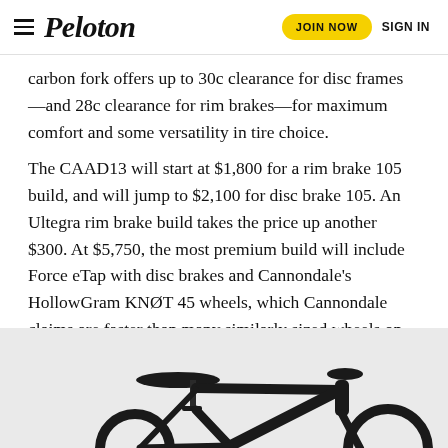Peloton | JOIN NOW | SIGN IN
carbon fork offers up to 30c clearance for disc frames—and 28c clearance for rim brakes—for maximum comfort and some versatility in tire choice.
The CAAD13 will start at $1,800 for a rim brake 105 build, and will jump to $2,100 for disc brake 105. An Ultegra rim brake build takes the price up another $300. At $5,750, the most premium build will include Force eTap with disc brakes and Cannondale's HollowGram KNØT 45 wheels, which Cannondale claims are faster than many similarly sized wheels on the market. It will be available in 44, 48, 51, 54, 56, 58, 60 and 62, as well as women's specific sizing in 44, 48, 51 and 54.
[Figure (photo): Partial photo of a black road bike, showing saddle and rear frame section against a white/light grey background.]